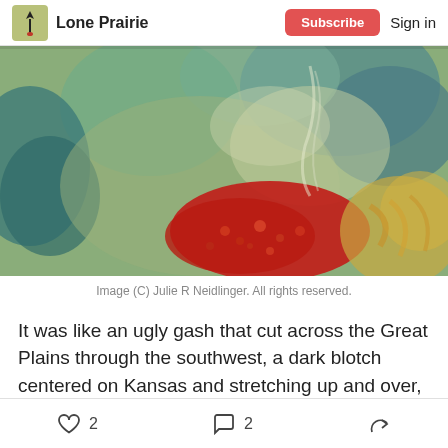Lone Prairie  Subscribe  Sign in
[Figure (photo): Abstract painting with muted greens, teals, blues, and a prominent red-orange area in the lower center, oil or pastel texture. Image (C) Julie R Neidlinger. All rights reserved.]
Image (C) Julie R Neidlinger. All rights reserved.
It was like an ugly gash that cut across the Great Plains through the southwest, a dark blotch centered on Kansas and stretching up and over, landing hard in
2  2